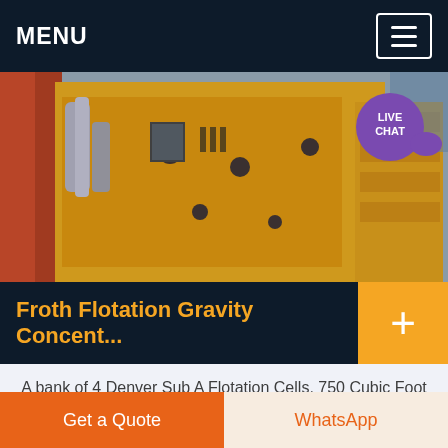MENU
[Figure (photo): Industrial flotation cell machinery — yellow large metal equipment with cylinders and shelving visible in background, red structures.]
Froth Flotation Gravity Concent...
A bank of 4 Denver Sub A Flotation Cells, 750 Cubic Foot per cell, overflowing the froth product. Flotation is used in gold, mineral processing, copper, coal, to recover fine particles, typically finer than mm. Chemical and physical attachment of the solid particle to the bubble, induced by the chemical
Get a Quote | WhatsApp